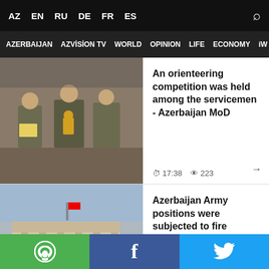AZ EN RU DE FR ES
AZERBAIJAN AZVİSİON TV WORLD OPINION LIFE ECONOMY iW
An orienteering competition was held among the servicemen - Azerbaijan MoD
17:38   223
Azerbaijan Army positions were subjected to fire
17:33   191
Erdogan tells Putin Türkiye can play facilitating role on Ukraine nuclear plant